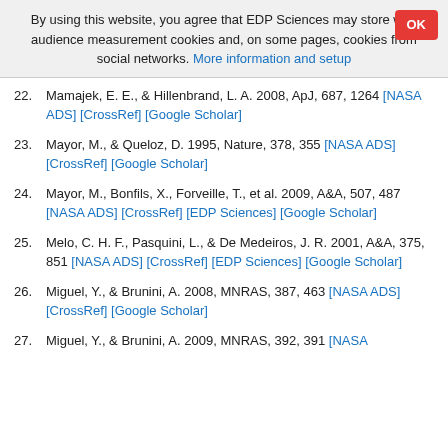By using this website, you agree that EDP Sciences may store web audience measurement cookies and, on some pages, cookies from social networks. More information and setup
22. Mamajek, E. E., & Hillenbrand, L. A. 2008, ApJ, 687, 1264 [NASA ADS] [CrossRef] [Google Scholar]
23. Mayor, M., & Queloz, D. 1995, Nature, 378, 355 [NASA ADS] [CrossRef] [Google Scholar]
24. Mayor, M., Bonfils, X., Forveille, T., et al. 2009, A&A, 507, 487 [NASA ADS] [CrossRef] [EDP Sciences] [Google Scholar]
25. Melo, C. H. F., Pasquini, L., & De Medeiros, J. R. 2001, A&A, 375, 851 [NASA ADS] [CrossRef] [EDP Sciences] [Google Scholar]
26. Miguel, Y., & Brunini, A. 2008, MNRAS, 387, 463 [NASA ADS] [CrossRef] [Google Scholar]
27. Miguel, Y., & Brunini, A. 2009, MNRAS, 392, 391 [NASA ...